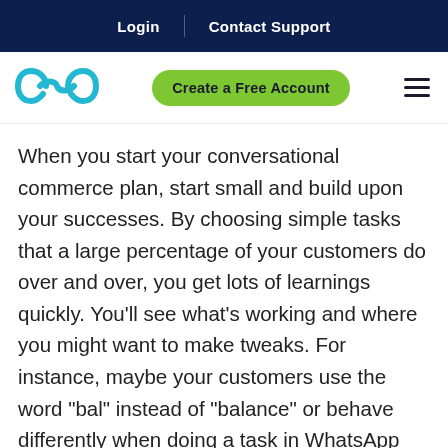Login | Contact Support
[Figure (logo): Stylized chain link / infinity loop logo in cyan/teal color]
Create a Free Account
When you start your conversational commerce plan, start small and build upon your successes. By choosing simple tasks that a large percentage of your customers do over and over, you get lots of learnings quickly. You’ll see what’s working and where you might want to make tweaks. For instance, maybe your customers use the word “bal” instead of “balance” or behave differently when doing a task in WhatsApp than they do when doing the exact same task on another chat channel.